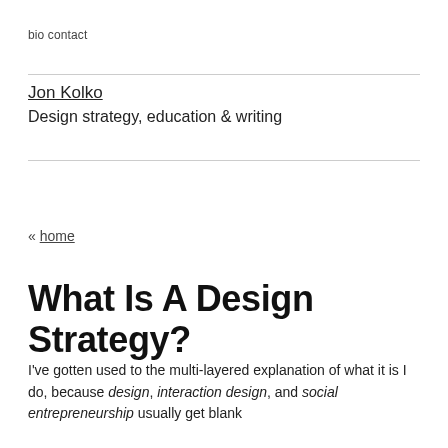bio contact
Jon Kolko
Design strategy, education & writing
« home
What Is A Design Strategy?
I've gotten used to the multi-layered explanation of what it is I do, because design, interaction design, and social entrepreneurship usually get blank